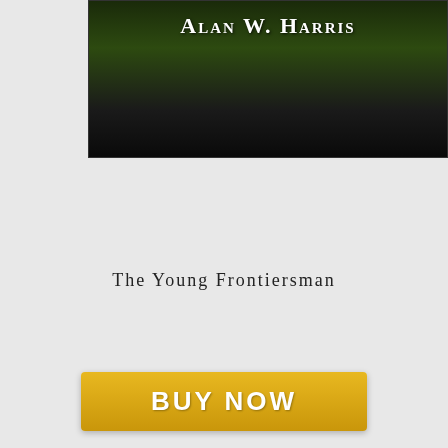[Figure (photo): Top portion of a book cover showing author name 'Alan W. Harris' in white text on a dark green and black background]
[Figure (infographic): Gold/yellow 'BUY NOW' button with white bold text]
The Young Frontiersman
[Figure (photo): Book cover for 'The Young Frontiersman' from The Flintlock Sagas series, Book 1, showing dark forest background with title text in white/cream serif font and a gold circular badge]